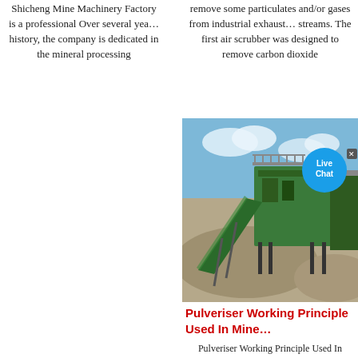Shicheng Mine Machinery Factory is a professional Over several yea… history, the company is dedicated in the mineral processing
remove some particulates and/or gases from industrial exhaust… streams. The first air scrubber was designed to remove carbon dioxide
[Figure (photo): Photo of mining machinery equipment - a green conveyor belt and processing machine at a mining/quarry site with sand/gravel piles and a blue sky with clouds. A 'Live Chat' bubble overlay appears in the upper right.]
Pulveriser Working Principle Used In Mine…
Pulveriser Working Principle Used In Mineral Processing Working